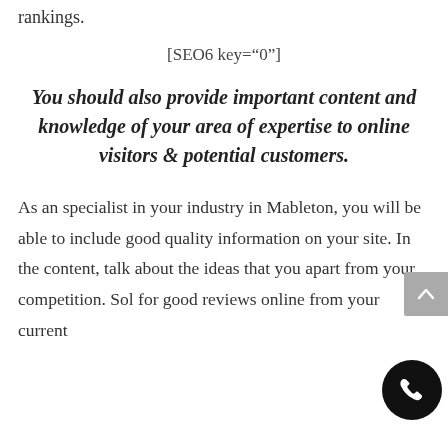rankings.
[SEO6 key="0"]
You should also provide important content and knowledge of your area of expertise to online visitors & potential customers.
As an specialist in your industry in Mableton, you will be able to include good quality information on your site. In the content, talk about the ideas that you apart from your competition. Sol for good reviews online from your current